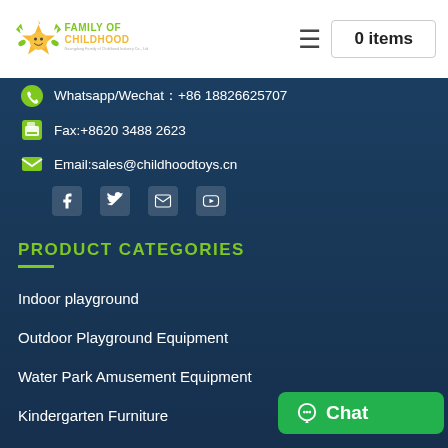[Figure (logo): Family of Childhood logo — colorful star/face mascot with green and yellow text reading FAMILY OF CHILDHOOD, Guangdong Family of Childhood Industry Co., Ltd.]
0 items
Whatsapp/Wechat：+86 18826625707
Fax:+8620 3488 2623
Email:sales@childhoodtoys.cn
[Figure (infographic): Social media icons: Facebook, Twitter, Email/Envelope, YouTube]
PRODUCT CATEGORIES
Indoor playground
Outdoor Playground Equipment
Water Park Amusement Equipment
Kindergarten Furniture
Chat